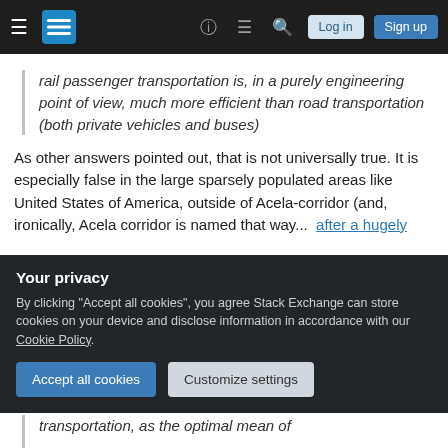Stack Exchange navigation bar with hamburger menu, logo, help, chat, search icons, Log in and Sign up buttons
rail passenger transportation is, in a purely engineering point of view, much more efficient than road transportation (both private vehicles and buses)
As other answers pointed out, that is not universally true. It is especially false in the large sparsely populated areas like United States of America, outside of Acela-corridor (and, ironically, Acela corridor is named that way... after a hugely
Your privacy
By clicking "Accept all cookies", you agree Stack Exchange can store cookies on your device and disclose information in accordance with our Cookie Policy.
transportation, as the optimal mean of